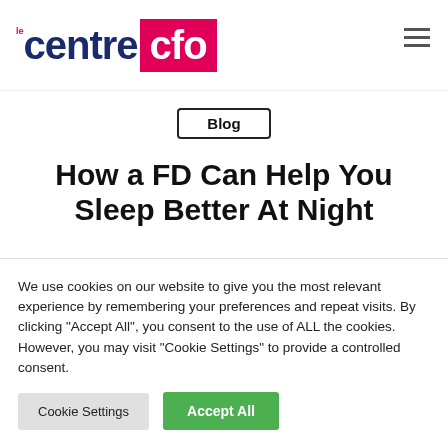le centre cfo
Blog
How a FD Can Help You Sleep Better At Night
We use cookies on our website to give you the most relevant experience by remembering your preferences and repeat visits. By clicking “Accept All”, you consent to the use of ALL the cookies. However, you may visit “Cookie Settings” to provide a controlled consent.